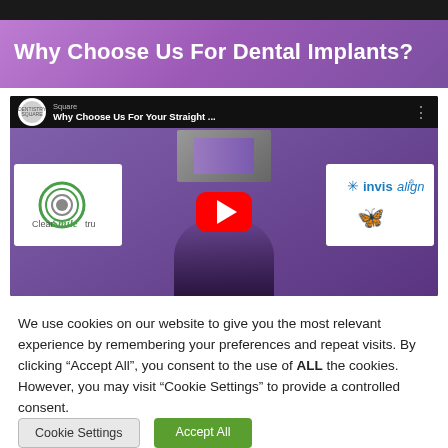Why Choose Us For Dental Implants?
[Figure (screenshot): YouTube video thumbnail showing 'Why Choose Us For Your Straight ...' with dental practice branding. Left panel shows ClearSmileTru logo, right panel shows Invisalign logo. A red YouTube play button is centered over the video.]
We use cookies on our website to give you the most relevant experience by remembering your preferences and repeat visits. By clicking “Accept All”, you consent to the use of ALL the cookies. However, you may visit "Cookie Settings" to provide a controlled consent.
Cookie Settings
Accept All